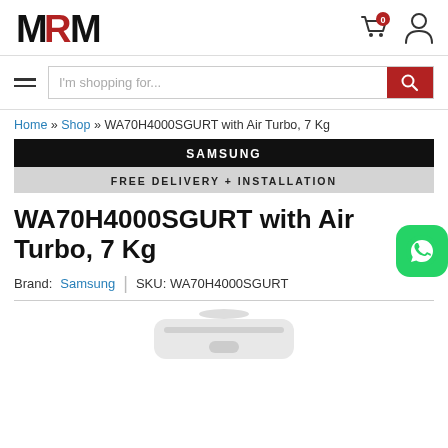[Figure (logo): MRM logo with red M in the middle]
[Figure (infographic): Shopping cart icon with 0 badge and user account icon]
[Figure (infographic): Hamburger menu icon and search bar with red search button]
Home » Shop » WA70H4000SGURT with Air Turbo, 7 Kg
[Figure (infographic): Samsung banner: black bar with SAMSUNG, gray bar with FREE DELIVERY + INSTALLATION]
WA70H4000SGURT with Air Turbo, 7 Kg
Brand: Samsung | SKU: WA70H4000SGURT
[Figure (photo): Partial view of white Samsung washing machine top]